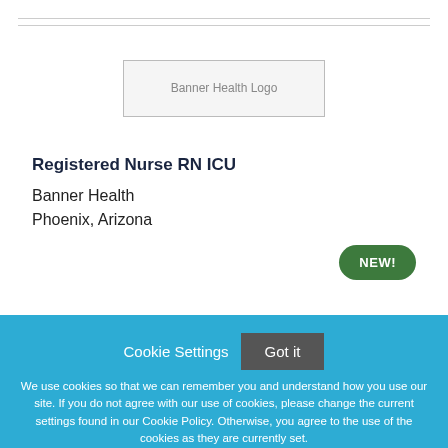[Figure (logo): Banner Health Logo placeholder image]
Registered Nurse RN ICU
Banner Health
Phoenix, Arizona
NEW!
Cookie Settings
Got it
We use cookies so that we can remember you and understand how you use our site. If you do not agree with our use of cookies, please change the current settings found in our Cookie Policy. Otherwise, you agree to the use of the cookies as they are currently set.